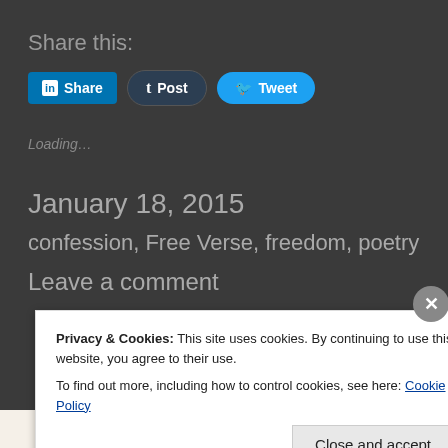Share this:
[Figure (screenshot): Social share buttons: LinkedIn Share, Tumblr Post, Twitter Tweet]
Loading...
January 18, 2015
confession, Free Verse, freedom, poetry
Leave a comment
Privacy & Cookies: This site uses cookies. By continuing to use this website, you agree to their use. To find out more, including how to control cookies, see here: Cookie Policy
Close and accept
in less than a week